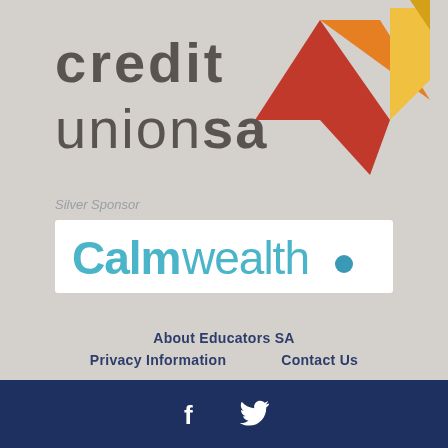[Figure (logo): Credit Union SA logo with triangular geometric shapes in red, orange, yellow colors on the right side]
Silver Sponsor
[Figure (logo): Calmwealth. logo in teal/blue color on white background]
About Educators SA
Privacy Information
Contact Us
Facebook and Twitter social media icons on dark navy blue footer bar